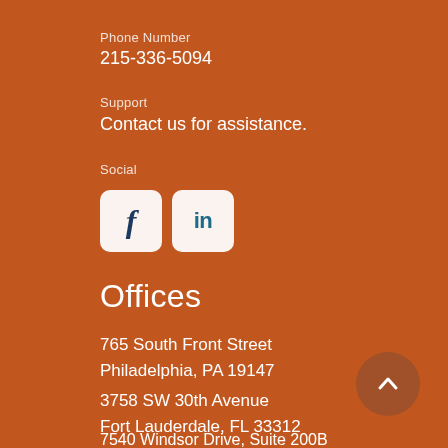Phone Number
215-336-5094
Support
Contact us for assistance.
Social
[Figure (other): Facebook and LinkedIn social media icon buttons on terracotta background]
Offices
765 South Front Street
Philadelphia, PA 19147
3758 SW 30th Avenue
Fort Lauderdale, FL 33312
7540 Windsor Drive, Suite 200B
Allentown, PA 18195